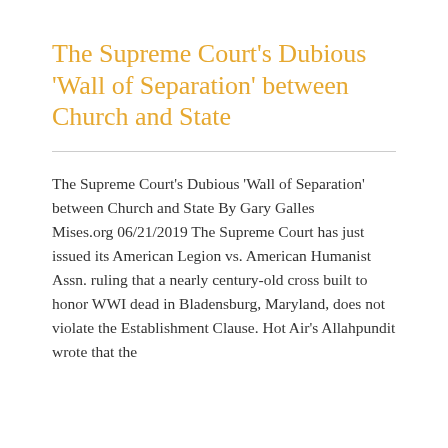The Supreme Court's Dubious 'Wall of Separation' between Church and State
The Supreme Court's Dubious 'Wall of Separation' between Church and State By Gary Galles          Mises.org 06/21/2019 The Supreme Court has just issued its American Legion vs. American Humanist Assn. ruling that a nearly century-old cross built to honor WWI dead in Bladensburg, Maryland, does not violate the Establishment Clause. Hot Air's Allahpundit wrote that the